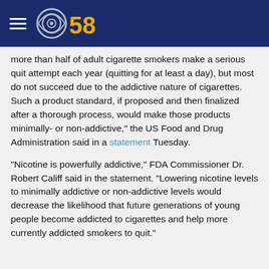CBS 58
more than half of adult cigarette smokers make a serious quit attempt each year (quitting for at least a day), but most do not succeed due to the addictive nature of cigarettes. Such a product standard, if proposed and then finalized after a thorough process, would make those products minimally- or non-addictive," the US Food and Drug Administration said in a statement Tuesday.
"Nicotine is powerfully addictive," FDA Commissioner Dr. Robert Califf said in the statement. "Lowering nicotine levels to minimally addictive or non-addictive levels would decrease the likelihood that future generations of young people become addicted to cigarettes and help more currently addicted smokers to quit."